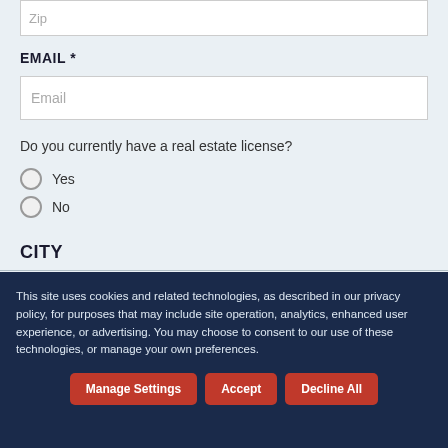Zip
EMAIL *
Email
Do you currently have a real estate license?
Yes
No
CITY
This site uses cookies and related technologies, as described in our privacy policy, for purposes that may include site operation, analytics, enhanced user experience, or advertising. You may choose to consent to our use of these technologies, or manage your own preferences.
Manage Settings
Accept
Decline All